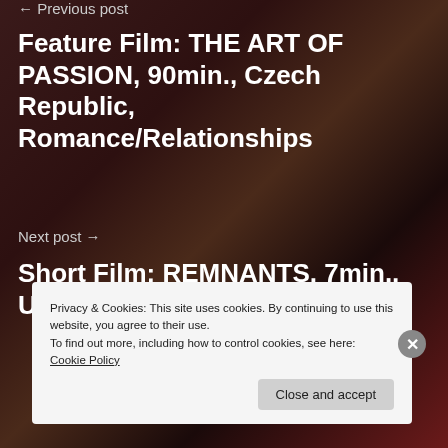← Previous post
Feature Film: THE ART OF PASSION, 90min., Czech Republic, Romance/Relationships
Next post →
Short Film: REMNANTS, 7min., USA
Privacy & Cookies: This site uses cookies. By continuing to use this website, you agree to their use.
To find out more, including how to control cookies, see here: Cookie Policy